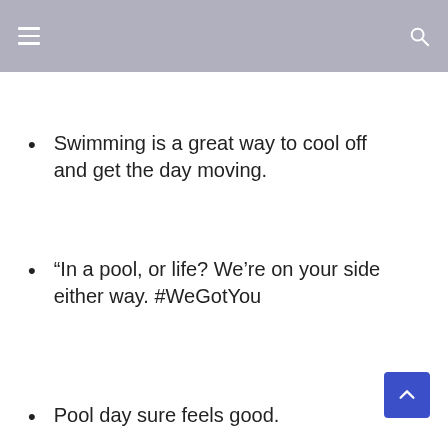Swimming is a great way to cool off and get the day moving.
“In a pool, or life? We’re on your side either way. #WeGotYou
Pool day sure feels good.